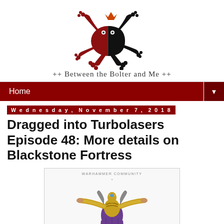[Figure (logo): Between the Bolter and Me blog logo: a frog silhouette split red and black with a small orange crown, inline SVG]
++ Between the Bolter and Me ++
Home
Wednesday, November 7, 2018
Dragged into Turbolasers Episode 48: More details on Blackstone Fortress
[Figure (photo): Warhammer Community image of a Blackstone Fortress miniature — a robed figure with outstretched arms and ornate mechanical details, purple robe, gold armor]